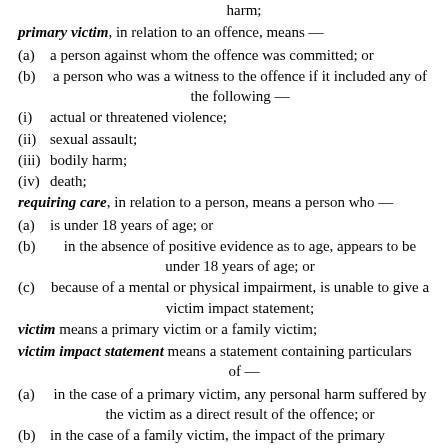personal harm means bodily harm or psychological or psychiatric harm;
primary victim, in relation to an offence, means —
(a) a person against whom the offence was committed; or
(b) a person who was a witness to the offence if it included any of the following —
(i) actual or threatened violence;
(ii) sexual assault;
(iii) bodily harm;
(iv) death;
requiring care, in relation to a person, means a person who —
(a) is under 18 years of age; or
(b) in the absence of positive evidence as to age, appears to be under 18 years of age; or
(c) because of a mental or physical impairment, is unable to give a victim impact statement;
victim means a primary victim or a family victim;
victim impact statement means a statement containing particulars of —
(a) in the case of a primary victim, any personal harm suffered by the victim as a direct result of the offence; or
(b) in the case of a family victim, the impact of the primary victim's